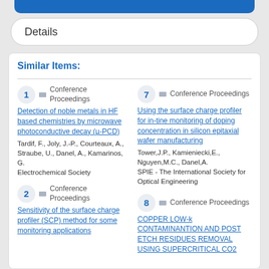Details
Similar Items:
1 Conference Proceedings
Detection of noble metals in HF based chemistries by microwave photoconductive decay (µ-PCD)
Tardif, F., Joly, J.-P., Courteaux, A., Straube, U., Danel, A., Kamarinos, G.
Electrochemical Society
7 Conference Proceedings
Using the surface charge profiler for in-tine monitoring of doping concentration in silicon epitaxial wafer manufacturing
Tower,J.P., Kamieniecki,E., Nguyen,M.C., Danel,A.
SPIE - The International Society for Optical Engineering
2 Conference Proceedings
Sensitivity of the surface charge profiler (SCP) method for some monitoring applications
8 Conference Proceedings
COPPER LOW-k CONTAMINANTION AND POST ETCH RESIDUES REMOVAL USING SUPERCRITICAL CO2